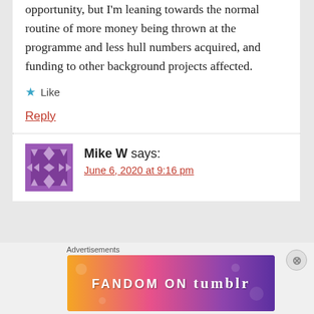opportunity, but I'm leaning towards the normal routine of more money being thrown at the programme and less hull numbers acquired, and funding to other background projects affected.
★ Like
Reply
Mike W says:
June 6, 2020 at 9:16 pm
Advertisements
[Figure (illustration): Fandom on Tumblr advertisement banner with colorful gradient background from orange to purple]